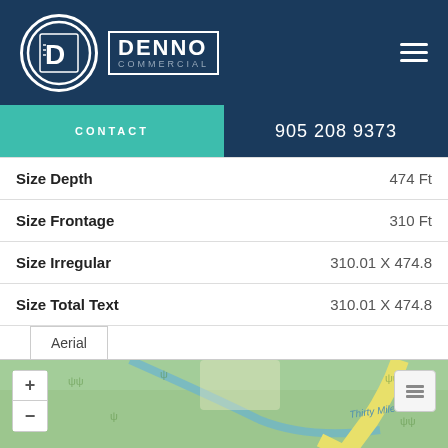[Figure (logo): Denno Commercial logo with circular D icon and company name in navy blue header]
CONTACT | 905 208 9373
| Property | Value |
| --- | --- |
| Size Depth | 474 Ft |
| Size Frontage | 310 Ft |
| Size Irregular | 310.01 X 474.8 |
| Size Total Text | 310.01 X 474.8 |
[Figure (map): Aerial map showing Thirty Mile Creek area with green park areas, yellow roads, and map zoom controls]